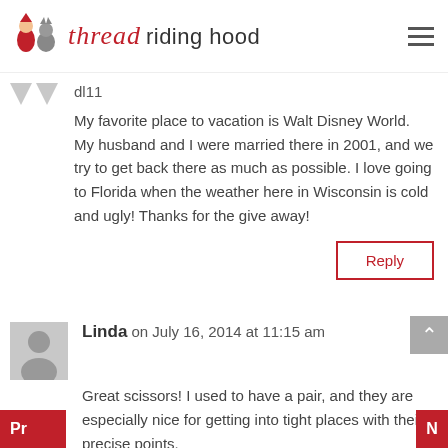thread riding hood
dl11
My favorite place to vacation is Walt Disney World. My husband and I were married there in 2001, and we try to get back there as much as possible. I love going to Florida when the weather here in Wisconsin is cold and ugly! Thanks for the give away!
Reply
Linda on July 16, 2014 at 11:15 am
Great scissors! I used to have a pair, and they are especially nice for getting into tight places with their precise points.

xo Linda
Reply